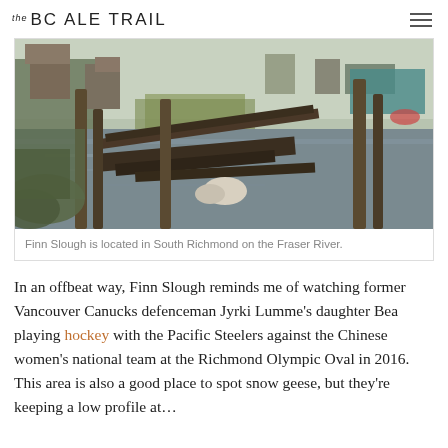THE BC ALE TRAIL
[Figure (photo): A waterway scene showing Finn Slough in South Richmond with wooden docks, weathered pilings, fishing boats, marsh grasses, and rustic waterfront structures along the Fraser River.]
Finn Slough is located in South Richmond on the Fraser River.
In an offbeat way, Finn Slough reminds me of watching former Vancouver Canucks defenceman Jyrki Lumme’s daughter Bea playing hockey with the Pacific Steelers against the Chinese women’s national team at the Richmond Olympic Oval in 2016. This area is also a good place to spot snow geese, but they’re keeping a low profile at …